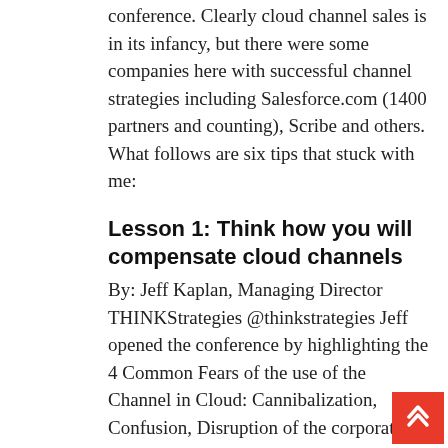conference. Clearly cloud channel sales is in its infancy, but there were some companies here with successful channel strategies including Salesforce.com (1400 partners and counting), Scribe and others.  What follows are six tips that stuck with me:
Lesson 1: Think how you will compensate cloud channels
By: Jeff Kaplan, Managing Director THINKStrategies @thinkstrategies Jeff opened the conference by highlighting the 4 Common Fears of the use of the Channel in Cloud: Cannibalization, Confusion, Disruption of the corporate environment and operations, and Channel conflict. After listening to most of the conference, I would have added to his list: